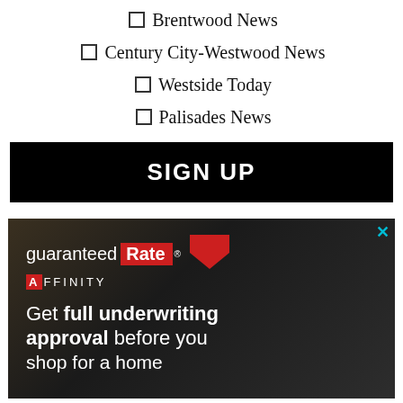Brentwood News
Century City-Westwood News
Westside Today
Palisades News
SIGN UP
[Figure (photo): Guaranteed Rate Affinity advertisement showing dark background with logo and text: 'Get full underwriting approval before you shop for a home']